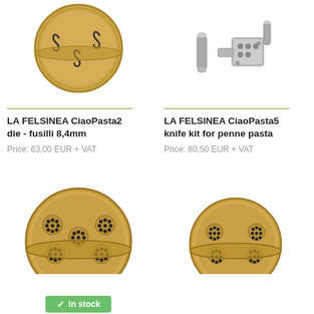[Figure (photo): Brass fusilli pasta die (CiaoPasta2) - circular brass disc with three fusilli-shaped holes, top view]
[Figure (photo): Metal knife kit for penne pasta (CiaoPasta5) - grey metal components including cutting mechanism parts]
LA FELSINEA CiaoPasta2 die - fusilli 8,4mm
Price: 63,00 EUR + VAT (With tax: 80,01 EUR)
LA FELSINEA CiaoPasta5 knife kit for penne pasta
Price: 80,50 EUR + VAT (With tax: 102,24 EUR)
[Figure (photo): Brass pasta die with multiple circular hole clusters - five groups of small holes arranged on circular brass disc, larger die]
[Figure (photo): Brass pasta die with four circular hole clusters - smaller brass disc with four groups of holes]
in stock